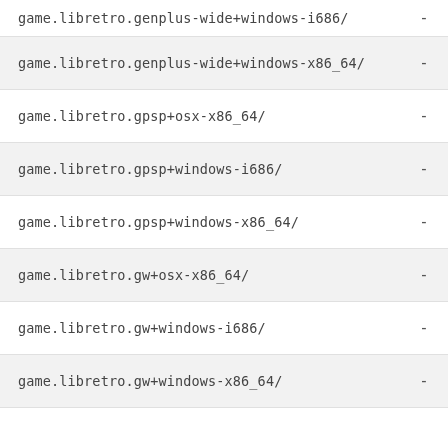game.libretro.genplus-wide+windows-i686/
game.libretro.genplus-wide+windows-x86_64/
game.libretro.gpsp+osx-x86_64/
game.libretro.gpsp+windows-i686/
game.libretro.gpsp+windows-x86_64/
game.libretro.gw+osx-x86_64/
game.libretro.gw+windows-i686/
game.libretro.gw+windows-x86_64/